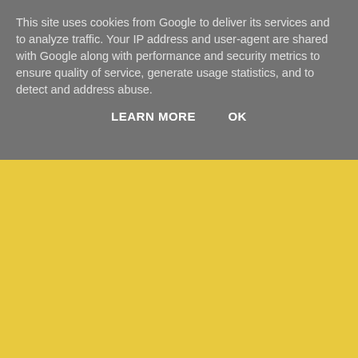This site uses cookies from Google to deliver its services and to analyze traffic. Your IP address and user-agent are shared with Google along with performance and security metrics to ensure quality of service, generate usage statistics, and to detect and address abuse.
LEARN MORE   OK
Teilen
‹
Startseite
›
Web-Version anzeigen
Powered by Blogger